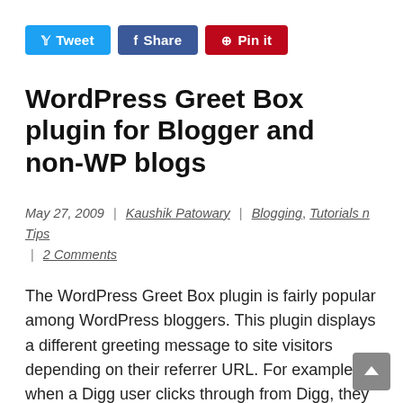[Figure (other): Social share buttons: Tweet (blue), Share (dark blue), Pin it (red)]
WordPress Greet Box plugin for Blogger and non-WP blogs
May 27, 2009 | Kaushik Patowary | Blogging, Tutorials n Tips | 2 Comments
The WordPress Greet Box plugin is fairly popular among WordPress bloggers. This plugin displays a different greeting message to site visitors depending on their referrer URL. For example, when a Digg user clicks through from Digg, they will see a message reminding them to digg the post if they like it. Similarly, a visitor from